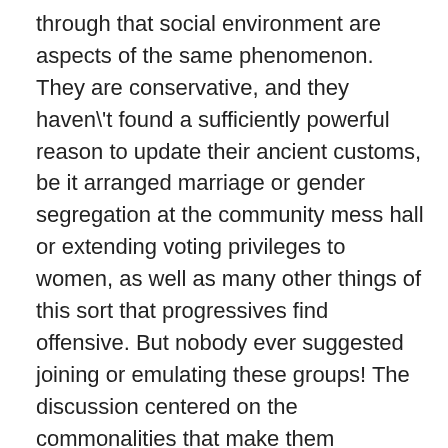through that social environment are aspects of the same phenomenon. They are conservative, and they haven't found a sufficiently powerful reason to update their ancient customs, be it arranged marriage or gender segregation at the community mess hall or extending voting privileges to women, as well as many other things of this sort that progressives find offensive. But nobody ever suggested joining or emulating these groups! The discussion centered on the commonalities that make them successful, and there is nothing about these commonalities that is offensive to anyone. But to understand these commonalities we have to look at the communities that exhibit them, and to do so successfully we have to evaluate them in accordance with their standards, not ours. But among us there are found some heirs to the legacy of cultural, economic and military